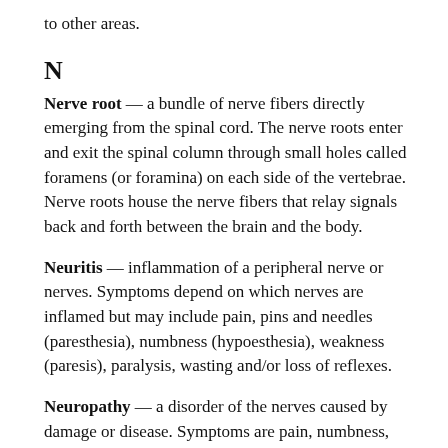to other areas.
N
Nerve root — a bundle of nerve fibers directly emerging from the spinal cord. The nerve roots enter and exit the spinal column through small holes called foramens (or foramina) on each side of the vertebrae. Nerve roots house the nerve fibers that relay signals back and forth between the brain and the body.
Neuritis — inflammation of a peripheral nerve or nerves. Symptoms depend on which nerves are inflamed but may include pain, pins and needles (paresthesia), numbness (hypoesthesia), weakness (paresis), paralysis, wasting and/or loss of reflexes.
Neuropathy — a disorder of the nerves caused by damage or disease. Symptoms are pain, numbness,